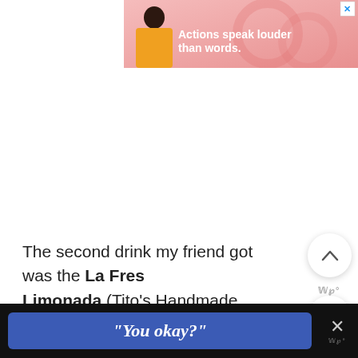[Figure (screenshot): Advertisement banner with pink/salmon gradient background, silhouette of person in yellow jacket on left, white bold text reading 'Actions speak louder than words.' with a close X button in top right corner]
The second drink my friend got was the La Fresca Limonada (Tito's Handmade Vodka, Puerto de Indias Strawberry Gin, Odwalla® Lemonade, Blackberry Sprite®):
[Figure (screenshot): Mobile UI floating action buttons: up chevron button, heart/favorite button, and blue search button on right side]
[Figure (screenshot): Bottom black bar with blue rounded rectangle button containing italic text "You okay?" and an X close button with WP logo]